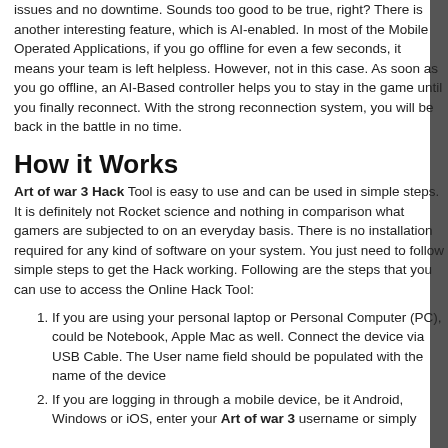issues and no downtime. Sounds too good to be true, right? There is another interesting feature, which is AI-enabled. In most of the Mobile Operated Applications, if you go offline for even a few seconds, it means your team is left helpless. However, not in this case. As soon as you go offline, an AI-Based controller helps you to stay in the game until you finally reconnect. With the strong reconnection system, you will be back in the battle in no time.
How it Works
Art of war 3 Hack Tool is easy to use and can be used in simple steps. It is definitely not Rocket science and nothing in comparison what gamers are subjected to on an everyday basis. There is no installation required for any kind of software on your system. You just need to follow simple steps to get the Hack working. Following are the steps that you can use to access the Online Hack Tool:
If you are using your personal laptop or Personal Computer (PC), could be Notebook, Apple Mac as well. Connect the device via USB Cable. The User name field should be populated with the name of the device
If you are logging in through a mobile device, be it Android, Windows or iOS, enter your Art of war 3 username or simply